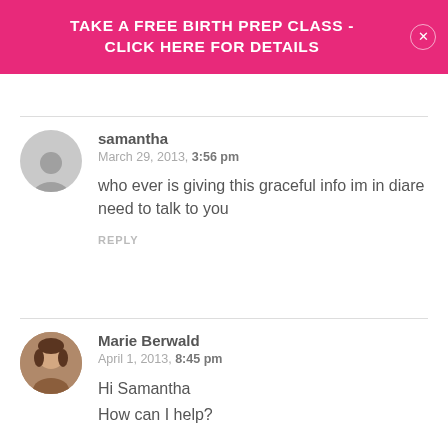TAKE A FREE BIRTH PREP CLASS - CLICK HERE FOR DETAILS
samantha
March 29, 2013, 3:56 pm
who ever is giving this graceful info im in diare need to talk to you
REPLY
Marie Berwald
April 1, 2013, 8:45 pm
Hi Samantha
How can I help?